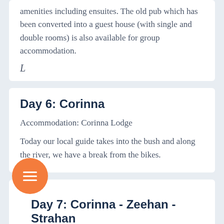amenities including ensuites. The old pub which has been converted into a guest house (with single and double rooms) is also available for group accommodation.
L
Day 6: Corinna
Accommodation: Corinna Lodge
Today our local guide takes into the bush and along the river, we have a break from the bikes.
Day 7: Corinna - Zeehan - Strahan